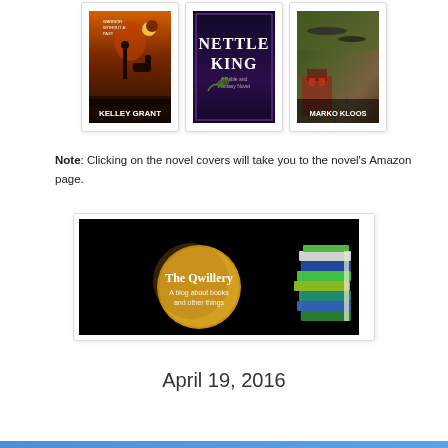[Figure (photo): Three book covers in a row: Kelley Grant novel (orange/sunset), Nettle King novel (dark purple), Marko Kloos novel (green/military)]
Note: Clicking on the novel covers will take you to the novel's Amazon page.
[Figure (logo): The Qwillery banner — black background with a golden moon and stack of colorful books. Text: 'The Qwillery — A blog about books and other things']
April 19, 2016